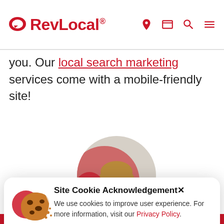RevLocal®
you. Our local search marketing services come with a mobile-friendly site!
[Figure (photo): Circular profile photo of a smiling woman with glasses and blonde hair, with a red circle background element and blurred storefront in the background]
Site Cookie Acknowledgement✕
We use cookies to improve user experience. For more information, visit our Privacy Policy.
ACCEPT